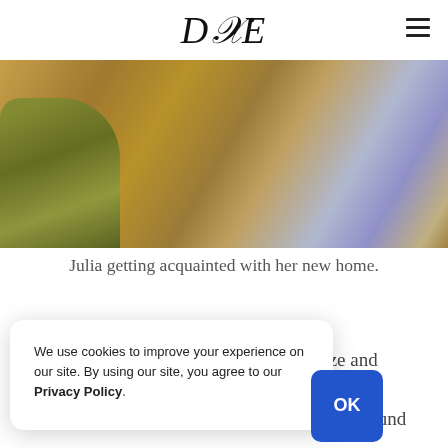DXE
[Figure (photo): A blurry close-up photo of a bird (Julia) in a new home, with yellow-green feathers on the left and a brownish background with a blue-grey vertical element on the right.]
Julia getting acquainted with her new home.
Given her size and clearly a baby— cannot be sure. I found
We use cookies to improve your experience on our site. By using our site, you agree to our Privacy Policy.